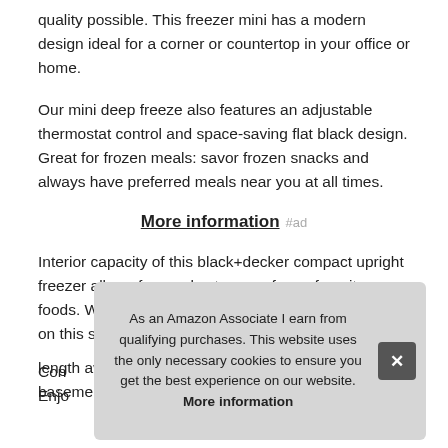quality possible. This freezer mini has a modern design ideal for a corner or countertop in your office or home.
Our mini deep freeze also features an adjustable thermostat control and space-saving flat black design. Great for frozen meals: savor frozen snacks and always have preferred meals near you at all times.
More information #ad
Interior capacity of this black+decker compact upright freezer allows for ample storage of your favorite foods. Wire shelving: the interior full-width wire shelf on this small upright freezer mea[...] likin[...]
Con[...] Enjo[...]
length away. In your office, bedroom, garage, basement or
As an Amazon Associate I earn from qualifying purchases. This website uses the only necessary cookies to ensure you get the best experience on our website. More information